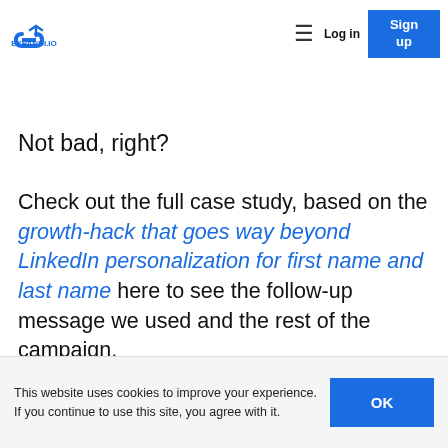connection request acceptance rate and response to follow-ups. | Log in | Sign up | [EXPANDI.IO logo]
Not bad, right?
Check out the full case study, based on the growth-hack that goes way beyond LinkedIn personalization for first name and last name here to see the follow-up message we used and the rest of the campaign.
Seriously, the thing works like magic!
This website uses cookies to improve your experience. If you continue to use this site, you agree with it.